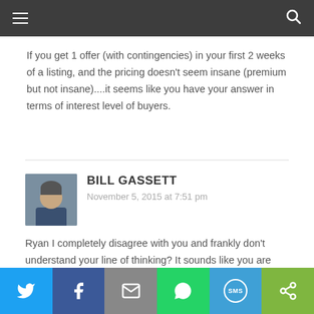navigation bar with menu and search icons
If you get 1 offer (with contingencies) in your first 2 weeks of a listing, and the pricing doesn't seem insane (premium but not insane)....it seems like you have your answer in terms of interest level of buyers.
BILL GASSETT
November 5, 2015 at 7:51 pm
Ryan I completely disagree with you and frankly don't understand your line of thinking? It sounds like you are saying that if a home does not sell in the first two week you are doomed. That is not how real estate works.
So instead of waiting for a good offer beyond two weeks you think tying up a sellers home based on an
Twitter | Facebook | Email | WhatsApp | SMS | Share